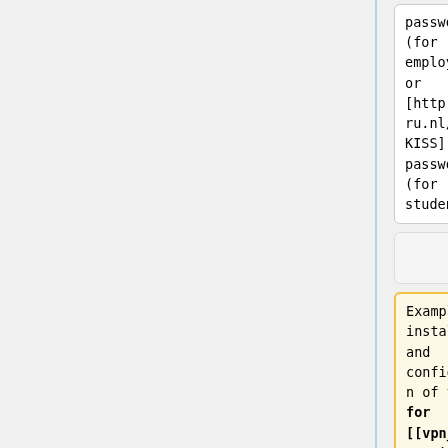| Column 1 | Column 2 |
| --- | --- |
| password]
(for employees)
or [http://www.ru.nl/kiss KISS]-password
(for students). | password]
(for employees)
or [http://www.ru.nl/kiss KISS]-password
(for students). |
|  |  |
| Examples of installation and configuration of the VPN for [[vpn_windows98_|Windows 98]],
[[... | Examples of installation and configuration of the VPN: |